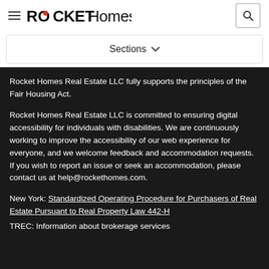ROCKET Homes
Sections
Rocket Homes Real Estate LLC fully supports the principles of the Fair Housing Act.
Rocket Homes Real Estate LLC is committed to ensuring digital accessibility for individuals with disabilities. We are continuously working to improve the accessibility of our web experience for everyone, and we welcome feedback and accommodation requests. If you wish to report an issue or seek an accommodation, please contact us at help@rockethomes.com.
New York: Standardized Operating Procedure for Purchasers of Real Estate Pursuant to Real Property Law 442-H
TREC: Information about brokerage services